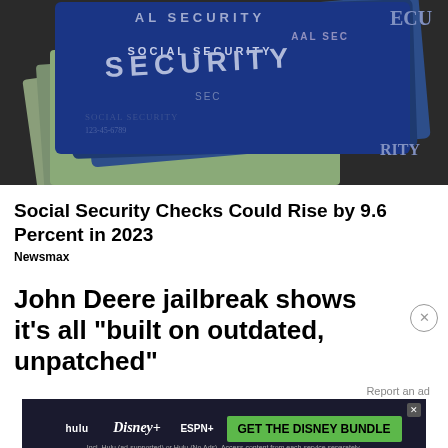[Figure (photo): Photo of Social Security cards fanned out with US dollar bills beneath them, blue card with white text reading SOCIAL SECURITY]
Social Security Checks Could Rise by 9.6 Percent in 2023
Newsmax
John Deere jailbreak shows it's all "built on outdated, unpatched"
[Figure (screenshot): Advertisement banner for Disney Bundle featuring Hulu, Disney+, and ESPN+ logos with green CTA button saying GET THE DISNEY BUNDLE]